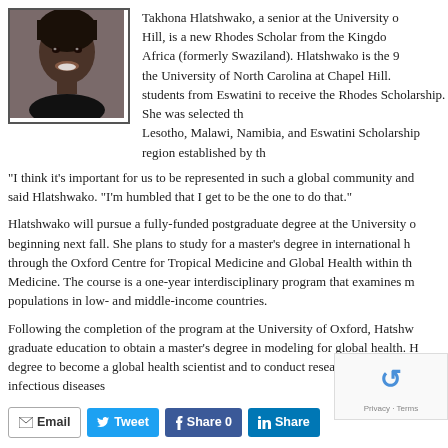[Figure (photo): Portrait photo of Takhona Hlatshwako, a young woman smiling]
Takhona Hlatshwako, a senior at the University of North Carolina at Chapel Hill, is a new Rhodes Scholar from the Kingdom of Eswatini in Southern Africa (formerly Swaziland). Hlatshwako is the 9th Rhodes Scholar from the University of North Carolina at Chapel Hill. She is one of only a few students from Eswatini to receive the Rhodes Scholarship. She was selected through the Lesotho, Malawi, Namibia, and Eswatini Scholarship region established by the Rhodes Trust.
“I think it’s important for us to be represented in such a global community and to have a seat at the table,” said Hlatshwako. “I’m humbled that I get to be the one to do that.”
Hlatshwako will pursue a fully-funded postgraduate degree at the University of Oxford beginning next fall. She plans to study for a master’s degree in international health and tropical medicine through the Oxford Centre for Tropical Medicine and Global Health within the Nuffield Department of Medicine. The course is a one-year interdisciplinary program that examines major health issues affecting populations in low- and middle-income countries.
Following the completion of the program at the University of Oxford, Hlatshwako plans to continue her graduate education to obtain a master’s degree in modeling for global health. Her goal is to use her degree to become a global health scientist and to conduct research in global health particularly infectious diseases